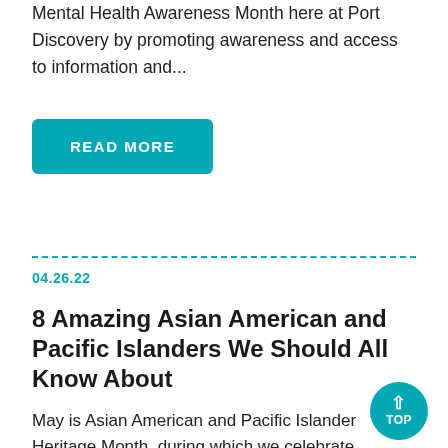Mental Health Awareness Month here at Port Discovery by promoting awareness and access to information and...
READ MORE
04.26.22
8 Amazing Asian American and Pacific Islanders We Should All Know About
May is Asian American and Pacific Islander Heritage Month, during which we celebrate,